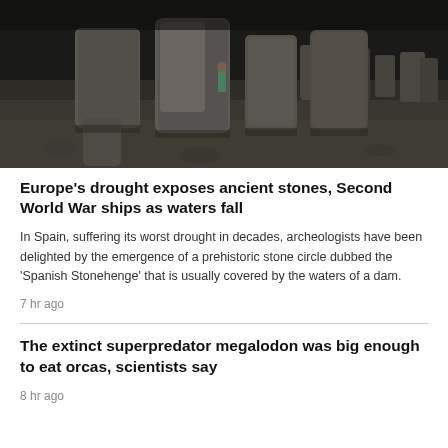[Figure (photo): Dark moody photograph of large standing stones (dolmens/megalithic stones) arranged in a field on barren ground, with a small human figure visible among the stones. The scene resembles the 'Spanish Stonehenge'.]
Europe's drought exposes ancient stones, Second World War ships as waters fall
In Spain, suffering its worst drought in decades, archeologists have been delighted by the emergence of a prehistoric stone circle dubbed the 'Spanish Stonehenge' that is usually covered by the waters of a dam.
7 hr ago
The extinct superpredator megalodon was big enough to eat orcas, scientists say
8 hr ago